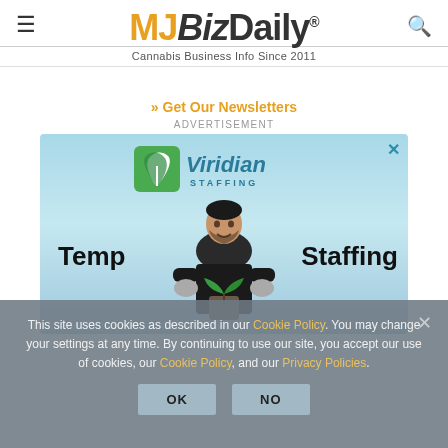MJBizDaily® Cannabis Business Info Since 2011
» Get Our Newsletters
ADVERTISEMENT
[Figure (photo): Viridian Staffing advertisement showing a man holding a plant, with text 'Temp Staffing' and the Viridian Staffing logo on a blue gradient background. An X close button is in the top right corner.]
This site uses cookies as described in our Cookie Policy. You may change your settings at any time. By continuing to use our site, you accept our use of cookies, our Cookie Policy, and our Privacy Policies.
OK    NO